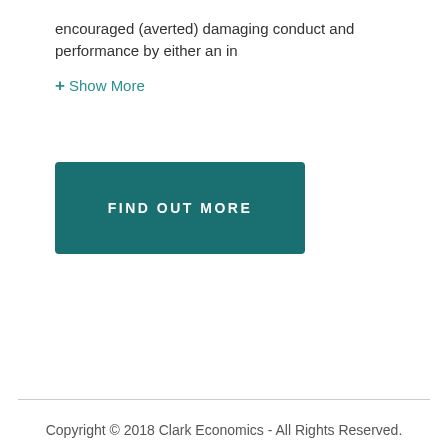encouraged (averted) damaging conduct and performance by either an in
+ Show More
FIND OUT MORE
Copyright © 2018 Clark Economics - All Rights Reserved.
Powered by GoDaddy